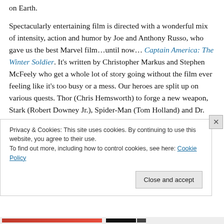on Earth.
Spectacularly entertaining film is directed with a wonderful mix of intensity, action and humor by Joe and Anthony Russo, who gave us the best Marvel film…until now… Captain America: The Winter Soldier. It's written by Christopher Markus and Stephen McFeely who get a whole lot of story going without the film ever feeling like it's too busy or a mess. Our heroes are split up on various quests. Thor (Chris Hemsworth) to forge a new weapon, Stark (Robert Downey Jr.), Spider-Man (Tom Holland) and Dr. Strange (Benedict Cumberbatch) to keep Thanos from
Privacy & Cookies: This site uses cookies. By continuing to use this website, you agree to their use.
To find out more, including how to control cookies, see here: Cookie Policy
Close and accept